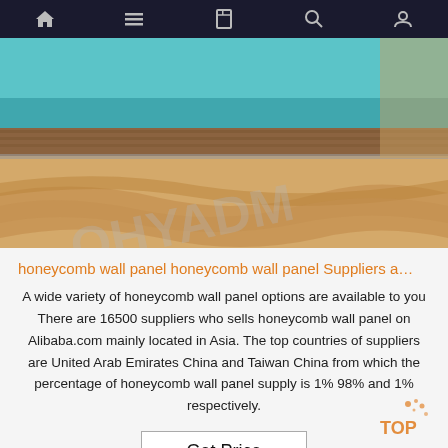Navigation bar with home, menu, book, search, and user icons
[Figure (photo): Product photo showing honeycomb wall panel material — a beige/tan layered material with a wooden and teal background. Watermark text overlaid reading something like OHYADMI or similar.]
honeycomb wall panel honeycomb wall panel Suppliers a…
A wide variety of honeycomb wall panel options are available to you There are 16500 suppliers who sells honeycomb wall panel on Alibaba.com mainly located in Asia. The top countries of suppliers are United Arab Emirates China and Taiwan China from which the percentage of honeycomb wall panel supply is 1% 98% and 1% respectively.
Get Price